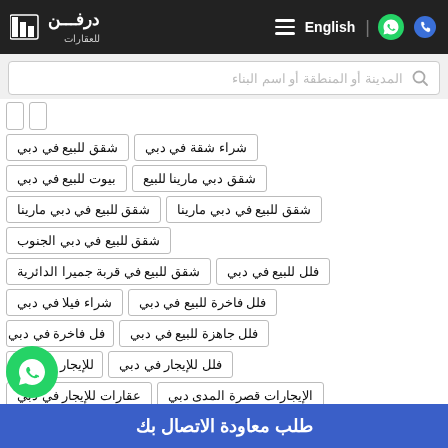درفن للعقارات — English | Header with logo, WhatsApp, phone
المدينة أو المنطقة أو اسم البناء
شقق للبيع في دبي
شراء شقة في دبي
بيوت للبيع في دبي
شقق دبي مارينا للبيع
شقق للبيع في دبي مارينا
شقق للبيع في دبي مارينا
شقق للبيع في دبي الجنوب
شقق للبيع في قربة جميرا الدائرية
فلل للبيع في دبي
شراء فيلا في دبي
فلل فاخرة للبيع في دبي
فلل فاخرة في دبي
فلل جاهزة للبيع في دبي
فلل للإيجار في دبي
للإيجار في دبي
عقارات للإيجار في دبي
الإيجارات قصرة المدى دبي
طلب معاودة الاتصال بك